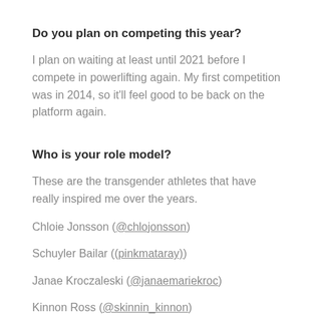Do you plan on competing this year?
I plan on waiting at least until 2021 before I compete in powerlifting again. My first competition was in 2014, so it'll feel good to be back on the platform again.
Who is your role model?
These are the transgender athletes that have really inspired me over the years.
Chloie Jonsson (@chlojonsson)
Schuyler Bailar ((pinkmataray))
Janae Kroczaleski (@janaemariekroc)
Kinnon Ross (@skinnin_kinnon)
Scott Percy (@fluffy757)
Tommy Murrell (@tommythetrainer78)